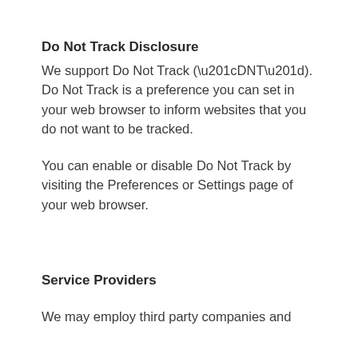Do Not Track Disclosure
We support Do Not Track (“DNT”). Do Not Track is a preference you can set in your web browser to inform websites that you do not want to be tracked.
You can enable or disable Do Not Track by visiting the Preferences or Settings page of your web browser.
Service Providers
We may employ third party companies and